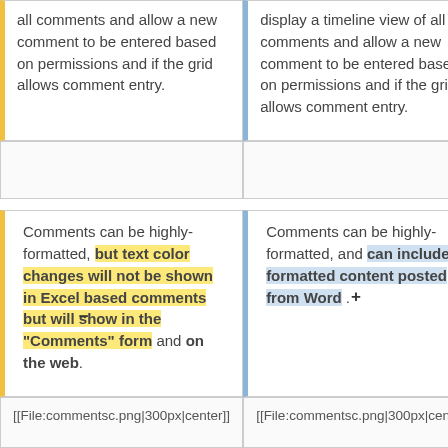all comments and allow a new comment to be entered based on permissions and if the grid allows comment entry.
display a timeline view of all comments and allow a new comment to be entered based on permissions and if the grid allows comment entry.
Comments can be highly-formatted, but text color changes will not be shown in Excel based comments but will show in the "Comments" form and on the web.
Comments can be highly-formatted, and can include formatted content posted from Word.
[[File:commentsc.png|300px|center]]
[[File:commentsc.png|300px|center]]